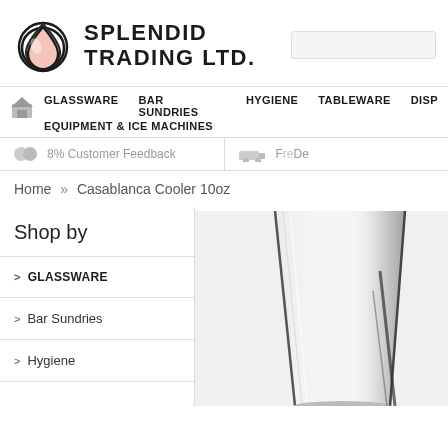[Figure (logo): Splendid Trading Ltd. logo with peach/pink teardrop shape and company name]
GLASSWARE   BAR SUNDRIES   HYGIENE   TABLEWARE   DISP   EQUIPMENT & ICE MACHINES
98% Customer Feedback
Free De...
Home » Casablanca Cooler 10oz
Shop by
> GLASSWARE
> Bar Sundries
> Hygiene
[Figure (photo): Casablanca Cooler 10oz glass product photo, showing a clear drinking glass]